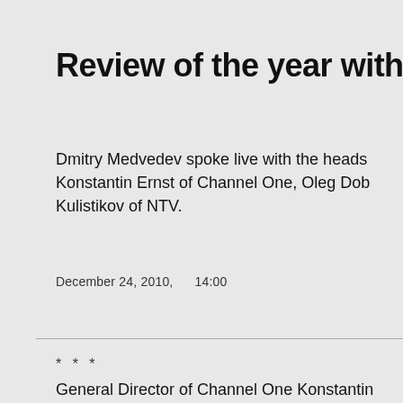Review of the year with Pre
Dmitry Medvedev spoke live with the heads Konstantin Ernst of Channel One, Oleg Dob Kulistikov of NTV.
December 24, 2010,    14:00
* * *
General Director of Channel One Konstantin Ernst: Good afternoon, viewers